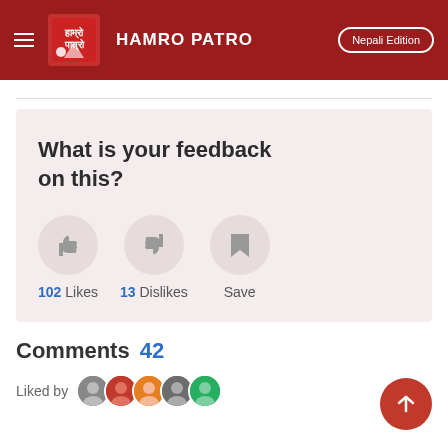HAMRO PATRO  Nepali Edition
What is your feedback on this?
102 Likes   13 Dislikes   Save
Comments  42
Liked by